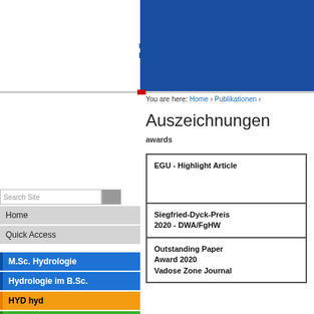[Figure (logo): University of Freiburg header with blue background and UNI FREIBURG logo]
You are here: Home › Publikationen ›
Auszeichnungen
awards
Search Site
Home
Quick Access
M.Sc. Hydrologie
Hydrologie im B.Sc.
HYD hyd
HYD sys
HYD mod
Students
Research
| Award |
| --- |
| EGU - Highlight Article |
| Siegfried-Dyck-Preis 2020 - DWA/FgHW |
| Outstanding Paper Award 2020 Vadose Zone Journal |